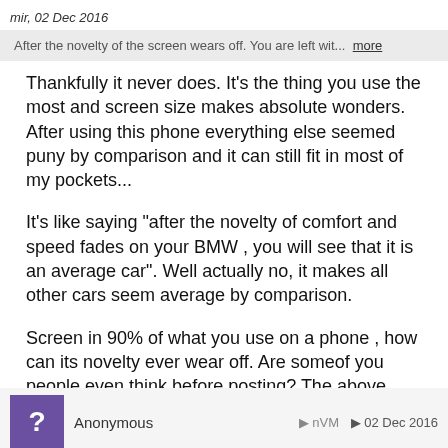mir, 02 Dec 2016
After the novelty of the screen wears off. You are left wit... more
Thankfully it never does. It's the thing you use the most and screen size makes absolute wonders. After using this phone everything else seemed puny by comparison and it can still fit in most of my pockets...
It's like saying "after the novelty of comfort and speed fades on your BMW , you will see that it is an average car". Well actually no, it makes all other cars seem average by comparison.
Screen in 90% of what you use on a phone , how can its novelty ever wear off. Are someof you people even think before posting? The above post made absolutely no sense.
REPLY
Anonymous    nVM    02 Dec 2016